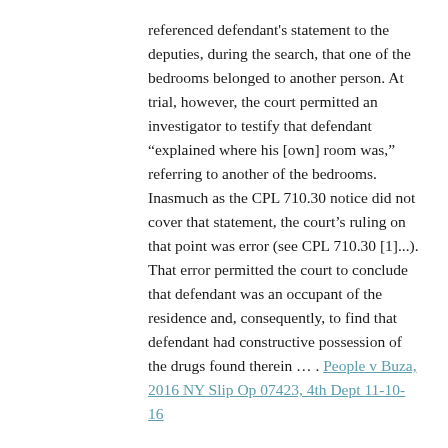referenced defendant's statement to the deputies, during the search, that one of the bedrooms belonged to another person. At trial, however, the court permitted an investigator to testify that defendant "explained where his [own] room was," referring to another of the bedrooms. Inasmuch as the CPL 710.30 notice did not cover that statement, the court's ruling on that point was error (see CPL 710.30 [1]...). That error permitted the court to conclude that defendant was an occupant of the residence and, consequently, to find that defendant had constructive possession of the drugs found therein ... . People v Buza, 2016 NY Slip Op 07423, 4th Dept 11-10-16